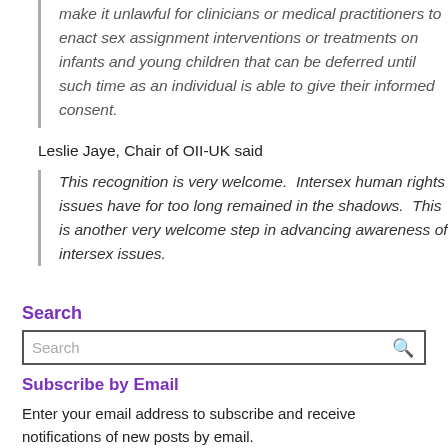make it unlawful for clinicians or medical practitioners to enact sex assignment interventions or treatments on infants and young children that can be deferred until such time as an individual is able to give their informed consent.
Leslie Jaye, Chair of OII-UK said
This recognition is very welcome.  Intersex human rights issues have for too long remained in the shadows.  This is another very welcome step in advancing awareness of intersex issues.
Search
Subscribe by Email
Enter your email address to subscribe and receive notifications of new posts by email.